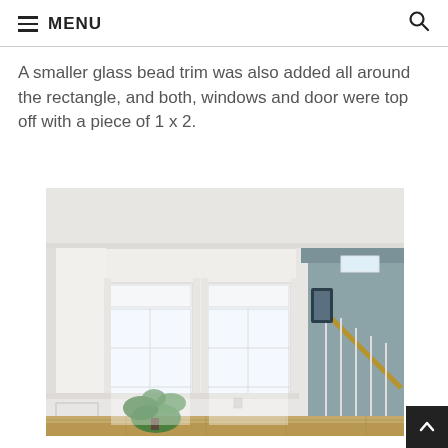MENU
A smaller glass bead trim was also added all around the rectangle, and both, windows and door were top off with a piece of 1 x 2.
[Figure (photo): Interior room photo showing large windows with white trim, a plant on the floor, hardwood floors, and a staircase visible through a doorway with blue-grey walls.]